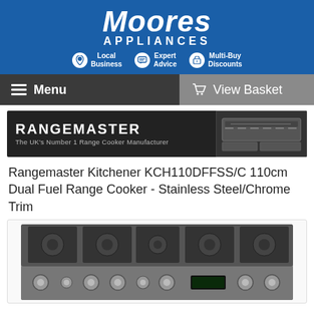[Figure (logo): Moores Appliances logo on blue background with tagline icons: Local Business, Expert Advice, Multi-Buy Discounts]
Menu | View Basket
[Figure (illustration): Rangemaster banner — The UK's Number 1 Range Cooker Manufacturer, with range cooker image on dark background]
Rangemaster Kitchener KCH110DFFSS/C 110cm Dual Fuel Range Cooker - Stainless Steel/Chrome Trim
[Figure (photo): Photo of Rangemaster Kitchener KCH110DFFSS/C 110cm Dual Fuel Range Cooker in stainless steel with chrome trim, showing gas burners on top and control knobs on front panel]